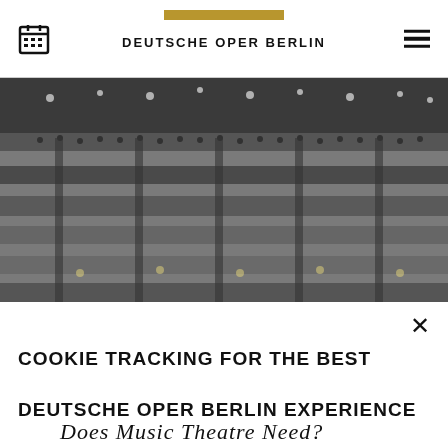DEUTSCHE OPER BERLIN
[Figure (photo): Black and white photograph of the Deutsche Oper Berlin concert hall interior, showing multiple balcony levels filled with audience members and stage lighting.]
Cookies
Management
COOKIE TRACKING FOR THE BEST DEUTSCHE OPER BERLIN EXPERIENCE
By selecting "Accept necessary cookies" you allow Deutsche Oper Berlin to use technically necessary cookies, pixels, tags and similar technologies. Selecting
Does Music Theatre Need?